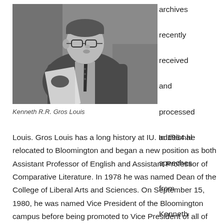[Figure (photo): Black and white photograph of Kenneth R.R. Gros Louis, a man wearing glasses and a suit with a tie, appearing to be speaking or presenting, holding papers.]
Kenneth R.R. Gros Louis
archives recently received and processed additional speeches from Kenneth R. R. Gros Louis. Gros Louis has a long history at IU. In 1964 he relocated to Bloomington and began a new position as both Assistant Professor of English and Assistant Professor of Comparative Literature. In 1978 he was named Dean of the College of Liberal Arts and Sciences. On September 15, 1980, he was named Vice President of the Bloomington campus before being promoted to Vice President of all of the Indiana University multi-campus system as well as adding the title of Chancellor of Indiana University Bloomington, July 1, 1983. Effective August 11...